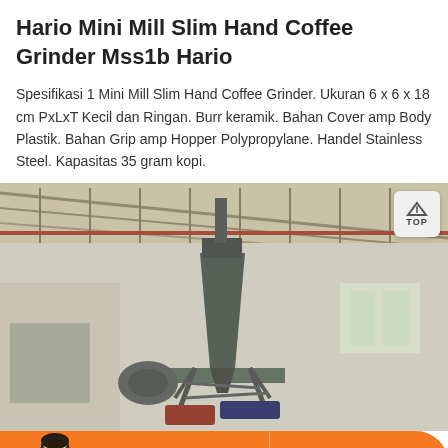Hario Mini Mill Slim Hand Coffee Grinder Mss1b Hario
Spesifikasi 1 Mini Mill Slim Hand Coffee Grinder. Ukuran 6 x 6 x 18 cm PxLxT Kecil dan Ringan. Burr keramik. Bahan Cover amp Body Plastik. Bahan Grip amp Hopper Polypropylane. Handel Stainless Steel. Kapasitas 35 gram kopi.
[Figure (photo): Industrial facility interior showing large metal grinding/milling equipment (conical hopper and cyclone separator) inside a warehouse building with metal roof trusses and windows]
[Figure (other): Bottom navigation bar with orange background showing a customer service avatar on the left, a Message button in the center-left, and an Online Chat button with headset icon on the right]